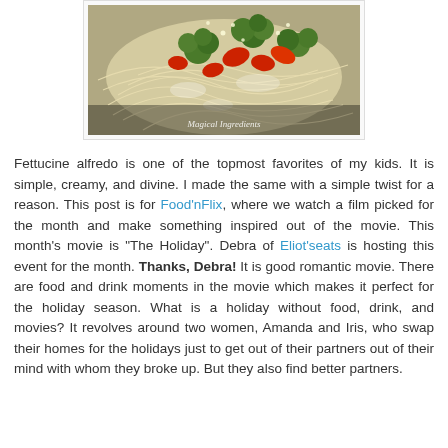[Figure (photo): Photo of fettucine alfredo pasta dish with broccoli and red peppers, topped with cheese. Watermark reads 'Magical Ingredients'.]
Fettucine alfredo is one of the topmost favorites of my kids. It is simple, creamy, and divine. I made the same with a simple twist for a reason. This post is for Food'nFlix, where we watch a film picked for the month and make something inspired out of the movie. This month's movie is "The Holiday". Debra of Eliot'seats is hosting this event for the month. Thanks, Debra! It is good romantic movie. There are food and drink moments in the movie which makes it perfect for the holiday season. What is a holiday without food, drink, and movies? It revolves around two women, Amanda and Iris, who swap their homes for the holidays just to get out of their partners out of their mind with whom they broke up. But they also find better partners.